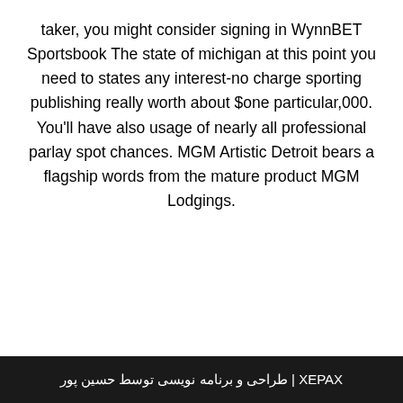taker, you might consider signing in WynnBET Sportsbook The state of michigan at this point you need to states any interest-no charge sporting publishing really worth about $one particular,000. You'll have also usage of nearly all professional parlay spot chances. MGM Artistic Detroit bears a flagship words from the mature product MGM Lodgings.
XAPEX | طراحی و برنامه نویسی توسط حسین پور